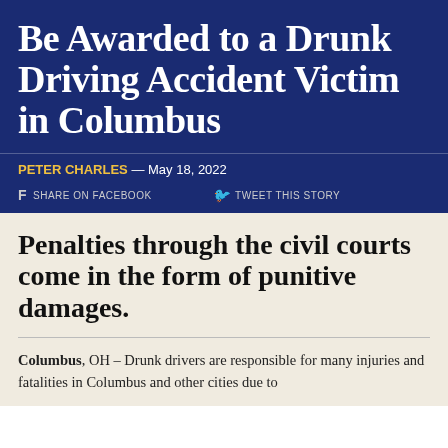Be Awarded to a Drunk Driving Accident Victim in Columbus
PETER CHARLES — May 18, 2022
f SHARE ON FACEBOOK   🐦 TWEET THIS STORY
Penalties through the civil courts come in the form of punitive damages.
Columbus, OH – Drunk drivers are responsible for many injuries and fatalities in Columbus and other cities due to